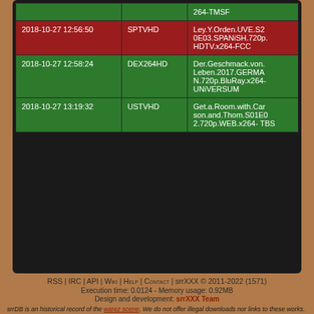| Date | Source | Name |
| --- | --- | --- |
|  |  | 264-TMSF |
| 2018-10-27 12:56:50 | SPTVHD | Ley.Y.Orden.UVE.S20E03.SPANiSH.720p.HDTV.x264-FCC |
| 2018-10-27 12:58:24 | DEX264HD | Der.Geschmack.von.Leben.2017.GERMAN.720p.BluRay.x264-UNiVERSUM |
| 2018-10-27 13:19:32 | USTVHD | Get.a.Room.with.Carson.and.Thom.S01E02.720p.WEB.x264-TBS |
RSS | IRC | API | Wiki | Help | Contact | srrXXX © 2011-2022 (1571)
Execution time: 0.0124 - Memory usage: 0.92MB
Design and development: srrXXX Team
srrDB is an historical record of the warez scene. We do not offer illegal downloads nor links to these works. All meta data gets added by our awesome users. Photographs or pictures can be part of these historical records, deemed fair use (news reporting and research) and are only a part of the complete work, but copyrights are owned by their respective creators or right holders.